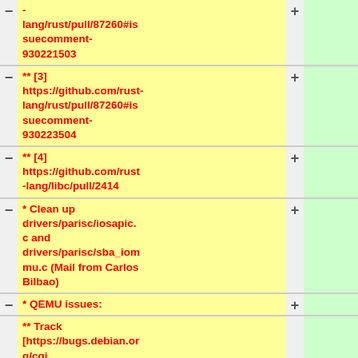- lang/rust/pull/87260#issuecomment-930221503
** [3] https://github.com/rust-lang/rust/pull/87260#issuecomment-930223504
** [4] https://github.com/rust-lang/libc/pull/2414
* Clean up drivers/parisc/iosapic.c and drivers/parisc/sba_iommu.c (Mail from Carlos Bilbao)
* QEMU issues:
** Track [https://bugs.debian.org/cgi...